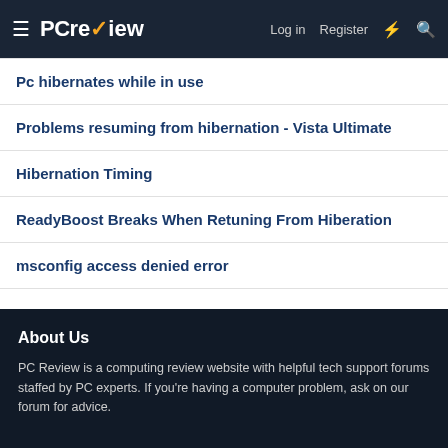≡ PCreview | Log in | Register | ⚡ | 🔍
Pc hibernates while in use
Problems resuming from hibernation - Vista Ultimate
Hibernation Timing
ReadyBoost Breaks When Retuning From Hiberation
msconfig access denied error
Share: [Facebook] [Twitter] [Reddit] [Pinterest] [Tumblr] [WhatsApp] [Email] [Link]
< Windows XP Help
About Us
PC Review is a computing review website with helpful tech support forums staffed by PC experts. If you're having a computer problem, ask on our forum for advice.